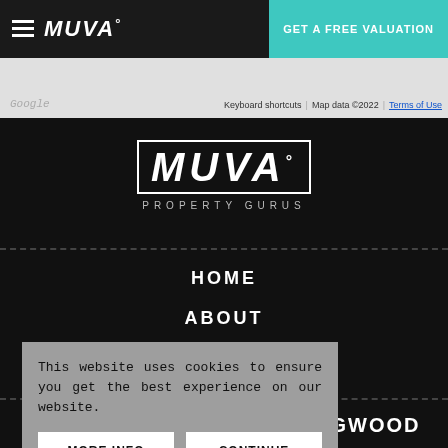MUVA° | GET A FREE VALUATION
[Figure (screenshot): Google map strip with Keyboard shortcuts, Map data ©2022, Terms of Use links]
[Figure (logo): MUVA° PROPERTY GURUS logo in white on black background]
HOME
ABOUT
TERMS
RINGWOOD
This website uses cookies to ensure you get the best experience on our website.
MORE INFO
CONTINUE